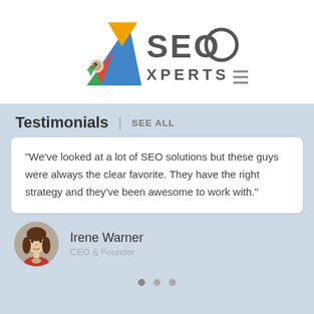[Figure (logo): SEO Xperts logo: colorful abstract bird/mountain shape on left, 'SEO XPERTS' text on right with hamburger menu icon]
Testimonials | SEE ALL
“We’ve looked at a lot of SEO solutions but these guys were always the clear favorite. They have the right strategy and they’ve been awesome to work with.”
Irene Warner
CEO & Founder
[Figure (illustration): Avatar illustration of a woman with brown hair and red top]